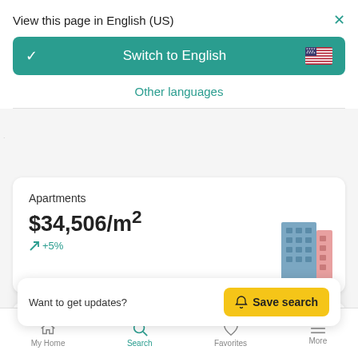View this page in English (US)
Switch to English
Other languages
Apartments
$34,506/m²
+5%
Want to get updates?
Save search
Houses
My Home  Search  Favorites  More